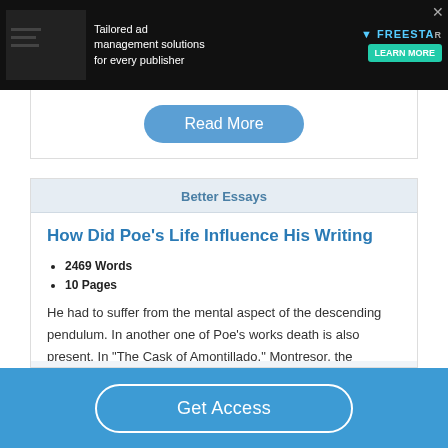[Figure (screenshot): Ad banner: dark background with text 'Tailored ad management solutions for every publisher', Freestar logo and 'Learn More' button]
[Figure (screenshot): Read More button in blue rounded pill style]
Better Essays
How Did Poe's Life Influence His Writing
2469 Words
10 Pages
He had to suffer from the mental aspect of the descending pendulum. In another one of Poe’s works death is also present. In “The Cask of Amontillado,” Montresor, the
Get Access